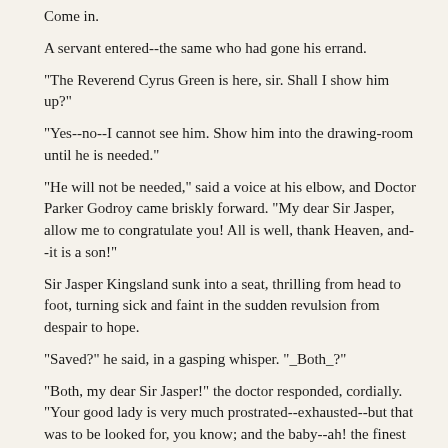Come in.
A servant entered--the same who had gone his errand.
"The Reverend Cyrus Green is here, sir. Shall I show him up?"
"Yes--no--I cannot see him. Show him into the drawing-room until he is needed."
"He will not be needed," said a voice at his elbow, and Doctor Parker Godroy came briskly forward. "My dear Sir Jasper, allow me to congratulate you! All is well, thank Heaven, and--it is a son!"
Sir Jasper Kingsland sunk into a seat, thrilling from head to foot, turning sick and faint in the sudden revulsion from despair to hope.
"Saved?" he said, in a gasping whisper. "_Both_?"
"Both, my dear Sir Jasper!" the doctor responded, cordially. "Your good lady is very much prostrated--exhausted--but that was to be looked for, you know; and the baby--ah! the finest boy I have had the pleasure of presenting to an admiring world within ten years. Come and see them!"
"May I?" the baronet cried, starting to his feet.
"Certainly, my dear Sir Jasper--most certainly. There is nothing in the world to hinder--only be a little cautious, you know. Our good lady must be kept composed and quiet, and left to sleep; and you will just take one peep and go. We won't need the Reverend Cyrus."
He led the way from the library, rubbing his hands as your brisk little